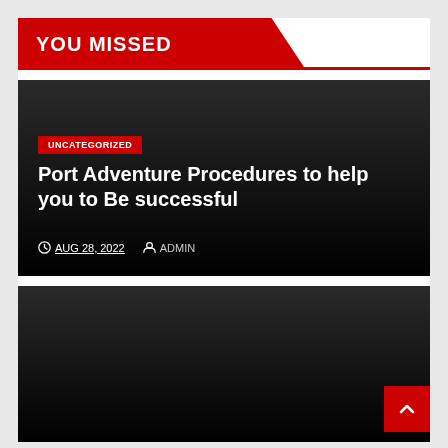YOU MISSED
Port Adventure Procedures to help you to Be successful
UNCATEGORIZED
AUG 28, 2022  ADMIN